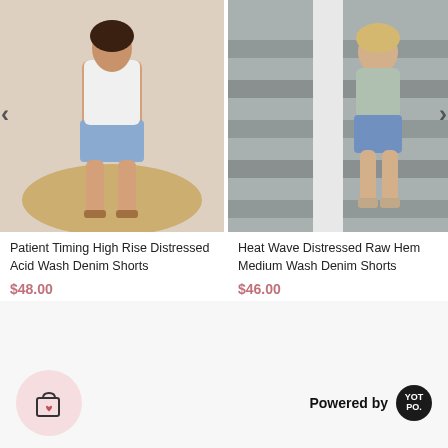[Figure (photo): Woman wearing white tank top and distressed acid wash denim shorts, standing on a round jute rug in a light-toned room]
Patient Timing High Rise Distressed Acid Wash Denim Shorts
$48.00
[Figure (photo): Woman wearing grey cropped button-up top and distressed medium wash denim shorts, sitting on concrete stairs outdoors]
Heat Wave Distressed Raw Hem Medium Wash Denim Shorts
$46.00
Powered by
[Figure (logo): Yotpo logo — circular dark badge with YOT PO. text in white]